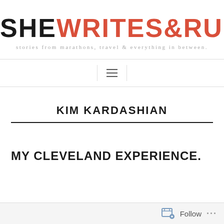[Figure (logo): SHE WRITES & RUNS blog logo with tagline 'stories from marathons, travel & everything in between.']
[Figure (other): Navigation bar with hamburger menu icon (three horizontal lines)]
KIM KARDASHIAN
MY CLEVELAND EXPERIENCE.
[Figure (other): Follow bar at bottom with follow icon, 'Follow' text, and ellipsis dots]